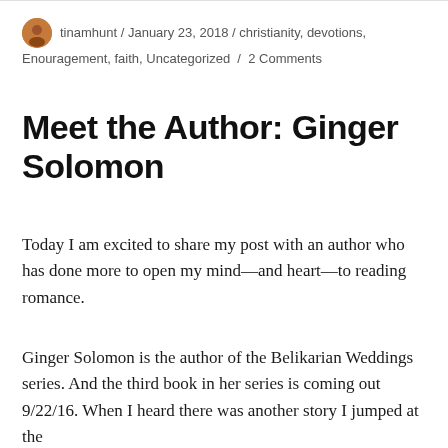tinamhunt / January 23, 2018 / christianity, devotions, Enouragement, faith, Uncategorized / 2 Comments
Meet the Author: Ginger Solomon
Today I am excited to share my post with an author who has done more to open my mind—and heart—to reading romance.
Ginger Solomon is the author of the Belikarian Weddings series. And the third book in her series is coming out 9/22/16. When I heard there was another story I jumped at the